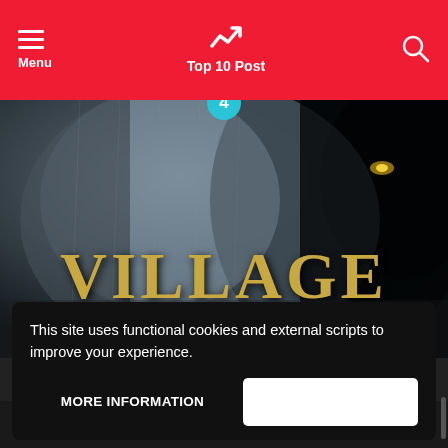Menu | Top 10 Post | [search]
[Figure (screenshot): Resident Evil Village game promotional image showing a large dark figure and the text VILLAGE / RESIDENT EVIL with a number 4 badge overlay]
Resident Evil Village – EMPRESS
This site uses functional cookies and external scripts to improve your experience.
MORE INFORMATION